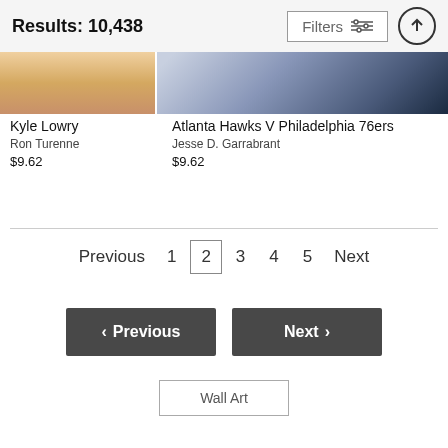Results: 10,438
[Figure (photo): Partial view of two sports photography images at top: left shows Kyle Lowry (warm tones), right shows Atlanta Hawks V Philadelphia 76ers (dark court tones)]
Kyle Lowry
Ron Turenne
$9.62
Atlanta Hawks V Philadelphia 76ers
Jesse D. Garrabrant
$9.62
Previous  1  2  3  4  5  Next
< Previous
Next >
Wall Art